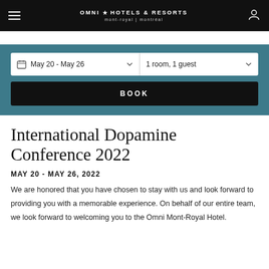Omni Hotels & Resorts — mont-royal | montréal
[Figure (screenshot): Hotel booking widget with date selector showing May 20 - May 26, guest selector showing 1 room, 1 guest, and a black BOOK button, on a teal background]
International Dopamine Conference 2022
MAY 20 - MAY 26, 2022
We are honored that you have chosen to stay with us and look forward to providing you with a memorable experience. On behalf of our entire team, we look forward to welcoming you to the Omni Mont-Royal Hotel.